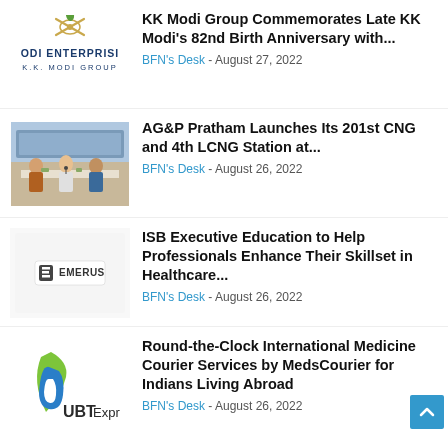[Figure (logo): ODI Enterprises K.K. Modi Group logo]
KK Modi Group Commemorates Late KK Modi's 82nd Birth Anniversary with...
BFN's Desk - August 27, 2022
[Figure (photo): AG&P Pratham event photo with people seated at table]
AG&P Pratham Launches Its 201st CNG and 4th LCNG Station at...
BFN's Desk - August 26, 2022
[Figure (logo): Emerus logo]
ISB Executive Education to Help Professionals Enhance Their Skillset in Healthcare...
BFN's Desk - August 26, 2022
[Figure (logo): UBT Express logo with blue and green swoosh]
Round-the-Clock International Medicine Courier Services by MedsCourier for Indians Living Abroad
BFN's Desk - August 26, 2022